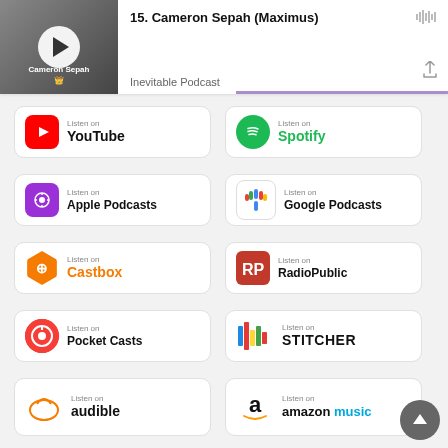[Figure (screenshot): Podcast card showing episode 15 Cameron Sepah (Maximus) from Inevitable Podcast with play button and purple progress bar]
15. Cameron Sepah (Maximus)
Inevitable Podcast
[Figure (infographic): Grid of 8 podcast listening platform buttons: YouTube, Spotify, Apple Podcasts, Google Podcasts, Castbox, RadioPublic, Pocket Casts, STITCHER, audible, amazon music]